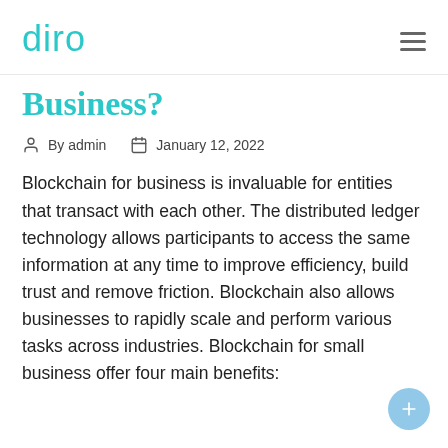diro
Business?
By admin   January 12, 2022
Blockchain for business is invaluable for entities that transact with each other. The distributed ledger technology allows participants to access the same information at any time to improve efficiency, build trust and remove friction. Blockchain also allows businesses to rapidly scale and perform various tasks across industries. Blockchain for small business offer four main benefits: